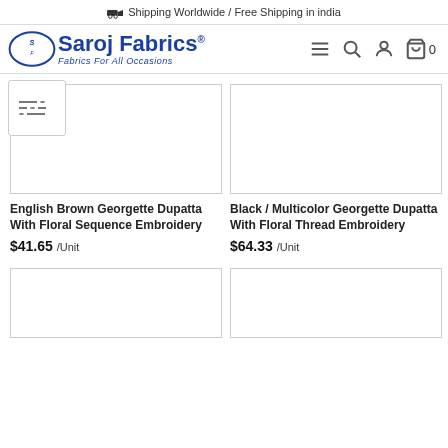🚚 Shipping Worldwide / Free Shipping in india
[Figure (logo): Saroj Fabrics logo with ellipse and tagline 'Fabrics For All Occasions']
English Brown Georgette Dupatta With Floral Sequence Embroidery
$41.65 /Unit
Black / Multicolor Georgette Dupatta With Floral Thread Embroidery
$64.33 /Unit